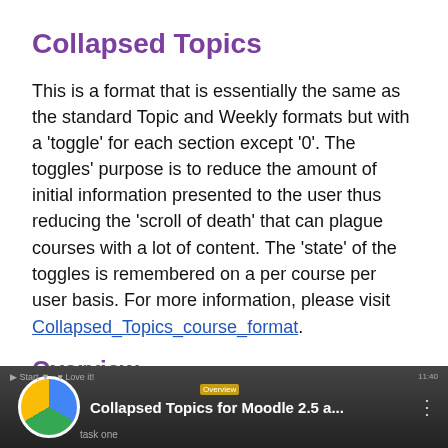Collapsed Topics
This is a format that is essentially the same as the standard Topic and Weekly formats but with a 'toggle' for each section except '0'. The toggles' purpose is to reduce the amount of initial information presented to the user thus reducing the 'scroll of death' that can plague courses with a lot of content. The 'state' of the toggles is remembered on a per course per user basis. For more information, please visit Collapsed_Topics_course_format.
Overview
For an overview of 'Collapsed Topics' please see this video:
[Figure (screenshot): Video thumbnail showing 'Collapsed Topics for Moodle 2.5 a...' with a colorful circular logo on the left and dark background, resembling a YouTube video embed.]